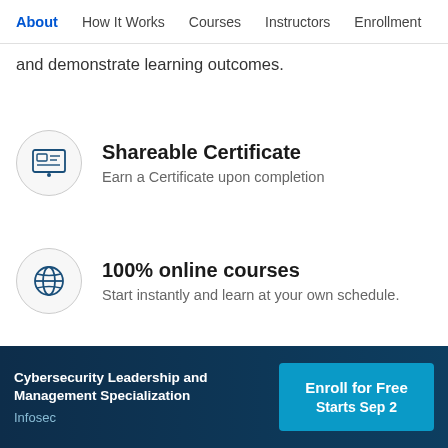About | How It Works | Courses | Instructors | Enrollment
and demonstrate learning outcomes.
Shareable Certificate — Earn a Certificate upon completion
100% online courses — Start instantly and learn at your own schedule.
Cybersecurity Leadership and Management Specialization | Infosec | Enroll for Free Starts Sep 2